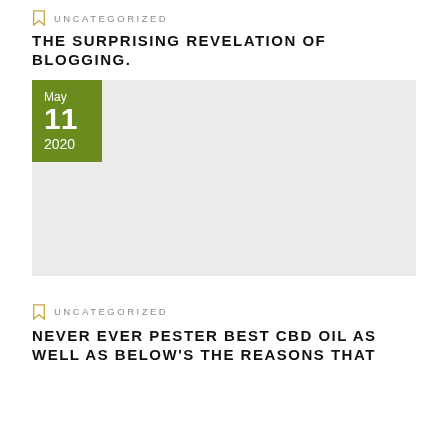UNCATEGORIZED
THE SURPRISING REVELATION OF BLOGGING.
[Figure (other): Blog post image placeholder with a green date badge showing May 11 2020]
UNCATEGORIZED
NEVER EVER PESTER BEST CBD OIL AS WELL AS BELOW'S THE REASONS THAT